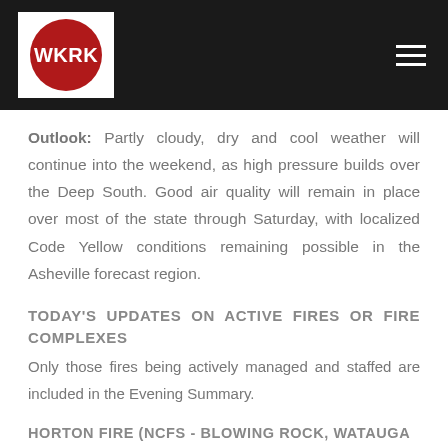WKRK
Outlook: Partly cloudy, dry and cool weather will continue into the weekend, as high pressure builds over the Deep South. Good air quality will remain in place over most of the state through Saturday, with localized Code Yellow conditions remaining possible in the Asheville forecast region.
TODAY'S UPDATES ON ACTIVE FIRES OR FIRE COMPLEXES
Only those fires being actively managed and staffed are included in the Evening Summary.
HORTON FIRE (NCFS - BLOWING ROCK, WATAUGA